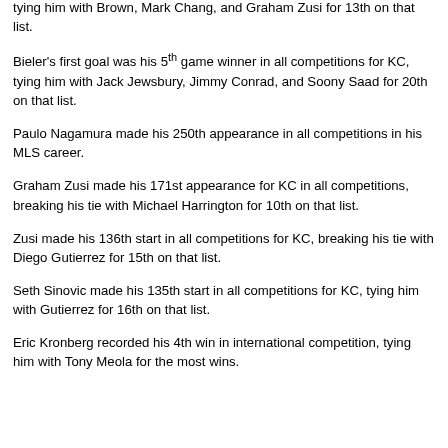tying him with Brown, Mark Chang, and Graham Zusi for 13th on that list.
Bieler's first goal was his 5th game winner in all competitions for KC, tying him with Jack Jewsbury, Jimmy Conrad, and Soony Saad for 20th on that list.
Paulo Nagamura made his 250th appearance in all competitions in his MLS career.
Graham Zusi made his 171st appearance for KC in all competitions, breaking his tie with Michael Harrington for 10th on that list.
Zusi made his 136th start in all competitions for KC, breaking his tie with Diego Gutierrez for 15th on that list.
Seth Sinovic made his 135th start in all competitions for KC, tying him with Gutierrez for 16th on that list.
Eric Kronberg recorded his 4th win in international competition, tying him with Tony Meola for the most wins.